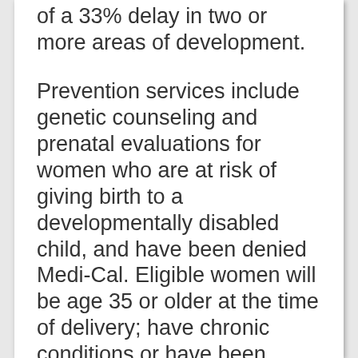of a 33% delay in two or more areas of development.
Prevention services include genetic counseling and prenatal evaluations for women who are at risk of giving birth to a developmentally disabled child, and have been denied Medi-Cal. Eligible women will be age 35 or older at the time of delivery; have chronic conditions or have been exposed to teratogens during pregnancy; or have a history of miscarriages, stillbirths or a family history of birth defects of mental retardation. APPLICATION PROCEDURE Call for information or to apply; an appointment is required. FEES/PAYMENT SOURCE Most services are free. There are state-mandated fees for some services, but fees